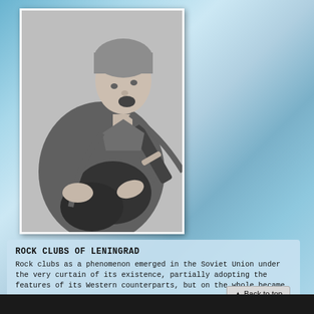[Figure (photo): Black and white photo of a man playing an electric guitar and singing with his mouth open, wearing a casual shirt with a guitar strap]
ROCK CLUBS OF LENINGRAD
Rock clubs as a phenomenon emerged in the Soviet Union under the very curtain of its existence, partially adopting the features of its Western counterparts, but on the whole became…
…